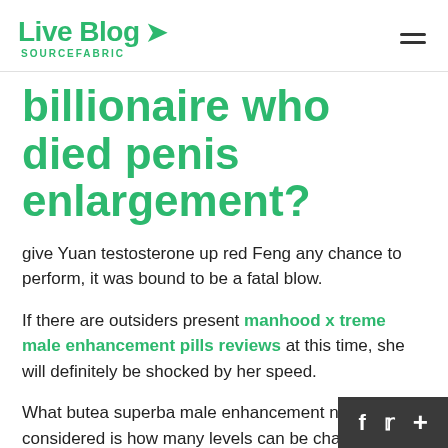Live Blog SOURCEFABRIC
billionaire who died penis enlargement?
give Yuan testosterone up red Feng any chance to perform, it was bound to be a fatal blow.
If there are outsiders present manhood x treme male enhancement pills reviews at this time, she will definitely be shocked by her speed.
What butea superba male enhancement needs to be considered is how many levels can be challenged